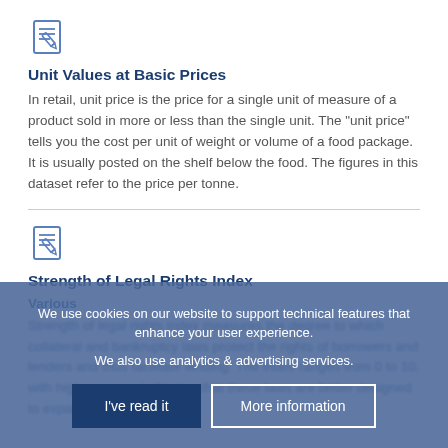[Figure (illustration): Document/edit icon — a page with lines and a pencil]
Unit Values at Basic Prices
In retail, unit price is the price for a single unit of measure of a product sold in more or less than the single unit. The "unit price" tells you the cost per unit of weight or volume of a food package. It is usually posted on the shelf below the food. The figures in this dataset refer to the price per tonne.
[Figure (illustration): Document/edit icon — a page with lines and a pencil]
Strength of Legal Rights Index
Various
Strength of legal rights index measures the degree to which collateral and bankruptcy laws protect the rights of borrowers and lenders and thus facilitate lending. The index ranges from 0 to 10, with higher scores indicating that these laws are better designed to expand access to credit.
We use cookies on our website to support technical features that enhance your user experience.
We also use analytics & advertising services.